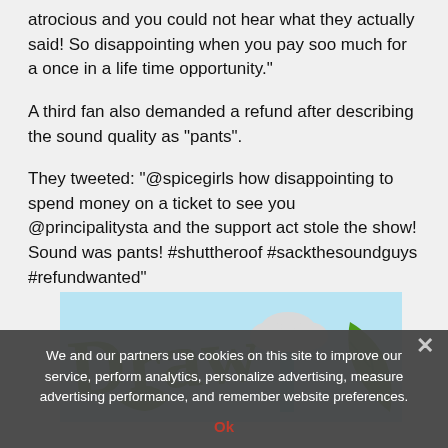atrocious and you could not hear what they actually said! So disappointing when you pay soo much for a once in a life time opportunity."
A third fan also demanded a refund after describing the sound quality as "pants".
They tweeted: "@spicegirls how disappointing to spend money on a ticket to see you @principalitysta and the support act stole the show! Sound was pants! #shuttheroof #sackthesoundguys #refundwanted"
[Figure (illustration): Partial image showing the word 'Draw' in green handwritten-style font, a rain cloud with blue rain, and a green leaf, on a light blue background.]
We and our partners use cookies on this site to improve our service, perform analytics, personalize advertising, measure advertising performance, and remember website preferences.
Ok